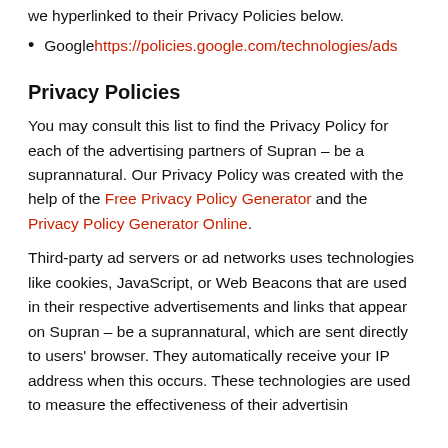we hyperlinked to their Privacy Policies below.
Google https://policies.google.com/technologies/ads
Privacy Policies
You may consult this list to find the Privacy Policy for each of the advertising partners of Supran – be a suprannatural. Our Privacy Policy was created with the help of the Free Privacy Policy Generator and the Privacy Policy Generator Online.
Third-party ad servers or ad networks uses technologies like cookies, JavaScript, or Web Beacons that are used in their respective advertisements and links that appear on Supran – be a suprannatural, which are sent directly to users' browser. They automatically receive your IP address when this occurs. These technologies are used to measure the effectiveness of their advertising